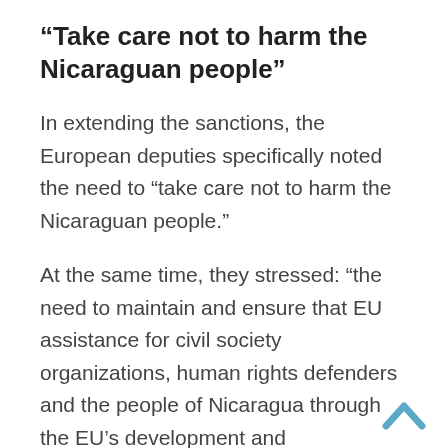“Take care not to harm the Nicaraguan people”
In extending the sanctions, the European deputies specifically noted the need to “take care not to harm the Nicaraguan people.”
At the same time, they stressed: “the need to maintain and ensure that EU assistance for civil society organizations, human rights defenders and the people of Nicaragua through the EU’s development and humanitarian programs, among others, reaches its true beneficiaries and